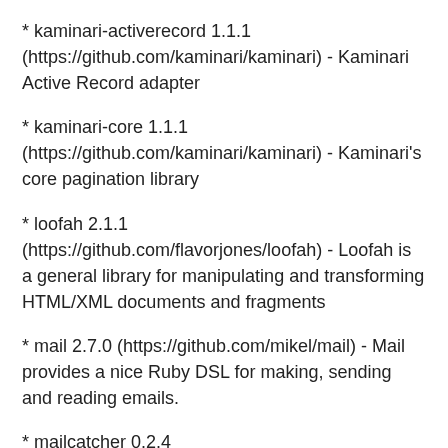* kaminari-activerecord 1.1.1 (https://github.com/kaminari/kaminari) - Kaminari Active Record adapter
* kaminari-core 1.1.1 (https://github.com/kaminari/kaminari) - Kaminari's core pagination library
* loofah 2.1.1 (https://github.com/flavorjones/loofah) - Loofah is a general library for manipulating and transforming HTML/XML documents and fragments
* mail 2.7.0 (https://github.com/mikel/mail) - Mail provides a nice Ruby DSL for making, sending and reading emails.
* mailcatcher 0.2.4 (http://github.com/sj26/mailcatcher) - Runs an SMTP server, catches and displays email in a web interface.
* memcachier 0.0.2 (http://www.memcachier.com) - Compatibility gem for using memcached libraries with